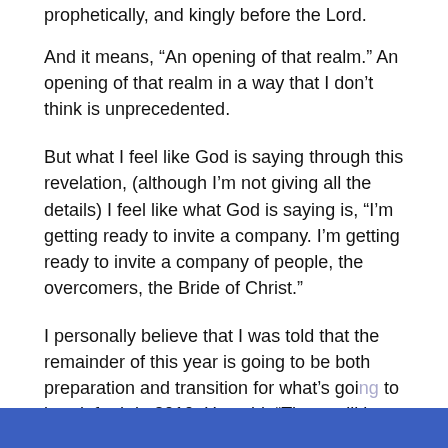prophetically, and kingly before the Lord.
And it means, “An opening of that realm.” An opening of that realm in a way that I don’t think is unprecedented.
But what I feel like God is saying through this revelation, (although I’m not giving all the details) I feel like what God is saying is, “I’m getting ready to invite a company. I’m getting ready to invite a company of people, the overcomers, the Bride of Christ.”
I personally believe that I was told that the remainder of this year is going to be both preparation and transition for what’s going to break forth in 2010. He said, “There will be a company that will emerge, begin to